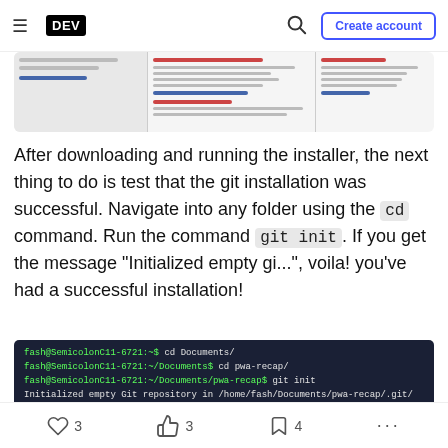DEV | Create account
[Figure (screenshot): Screenshot of a git download page showing columns with red headings and blue links]
After downloading and running the installer, the next thing to do is test that the git installation was successful. Navigate into any folder using the cd command. Run the command git init. If you get the message "Initialized empty gi...", voila! you've had a successful installation!
[Figure (screenshot): Terminal screenshot showing commands: cd Documents/, cd pwa-recap/, git init, and output 'Initialized empty Git repository in /home/fash/Documents/pwa-recap/.git/']
3 likes, 3 unicorns, 4 bookmarks